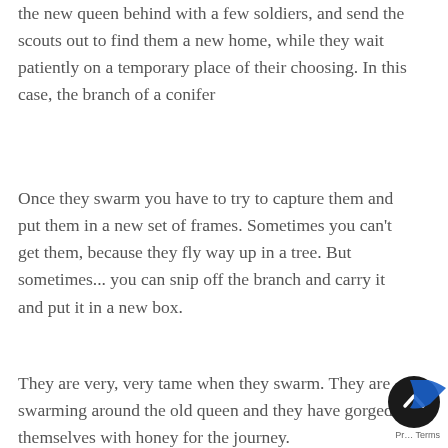the new queen behind with a few soldiers, and send the scouts out to find them a new home, while they wait patiently on a temporary place of their choosing. In this case, the branch of a conifer
Once they swarm you have to try to capture them and put them in a new set of frames. Sometimes you can't get them, because they fly way up in a tree. But sometimes... you can snip off the branch and carry it and put it in a new box.
They are very, very tame when they swarm. They are swarming around the old queen and they have gorged themselves with honey for the journey.